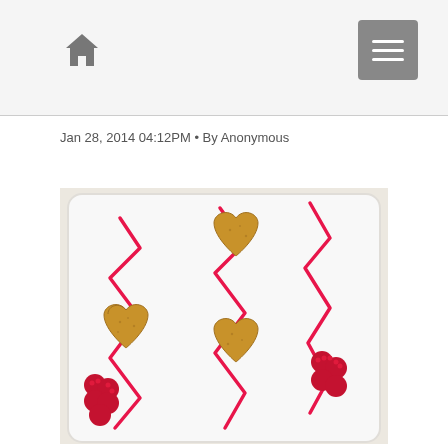Home icon and menu button
Jan 28, 2014 04:12PM • By Anonymous
[Figure (photo): Four golden heart-shaped hand pies arranged on a white rectangular plate, decorated with zigzag raspberry sauce drizzles and fresh raspberries in the corners]